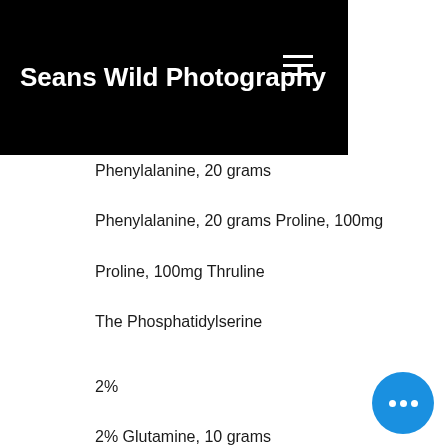Seans Wild Photography
Phenylalanine, 20 grams
Phenylalanine, 20 grams Proline, 100mg
Proline, 100mg Thruline
The Phosphatidylserine
2%
2% Glutamine, 10 grams
Glutamine, 10 grams Lysine
2%